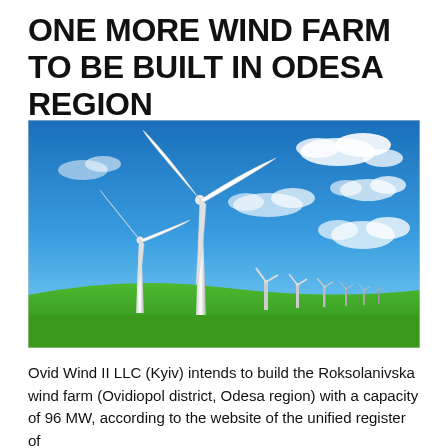ONE MORE WIND FARM TO BE BUILT IN ODESA REGION
[Figure (photo): Photograph of multiple white wind turbines on a green grass hill against a bright blue sky with white clouds. A large turbine dominates the foreground with several smaller turbines receding into the background distance.]
Ovid Wind II LLC (Kyiv) intends to build the Roksolanivska wind farm (Ovidiopol district, Odesa region) with a capacity of 96 MW, according to the website of the unified register of